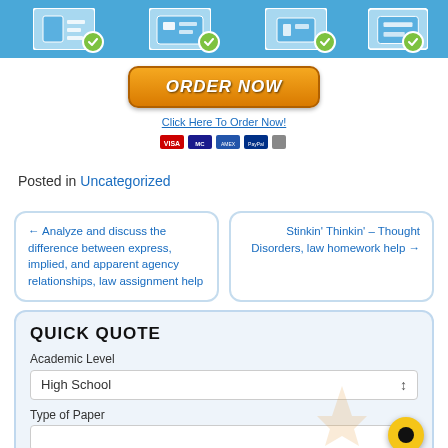[Figure (screenshot): Top banner with four blue icon panels each showing a checkmark badge, indicating steps or services]
[Figure (screenshot): Orange ORDER NOW button with italic bold white text, 'Click Here To Order Now!' link, and payment icons below]
Posted in Uncategorized
← Analyze and discuss the difference between express, implied, and apparent agency relationships, law assignment help
Stinkin' Thinkin' – Thought Disorders, law homework help →
QUICK QUOTE
Academic Level
High School
Type of Paper